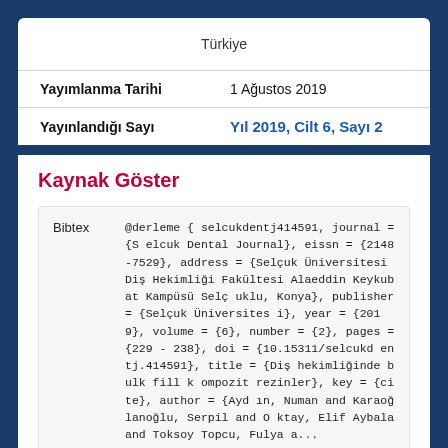Türkiye
| Yayımlanma Tarihi | 1 Ağustos 2019 |
| Yayınlandığı Sayı | Yıl 2019, Cilt 6, Sayı 2 |
Kaynak Göster
| Bibtex | @derleme { selcukdentj414591, journal = {Selcuk Dental Journal}, eissn = {2148-7529}, address = {Selçuk Üniversitesi Diş Hekimliği Fakültesi Alaeddin Keykubat Kampüsü Selçuklu, Konya}, publisher = {Selçuk Üniversitesi}, year = {2019}, volume = {6}, number = {2}, pages = {229 - 238}, doi = {10.15311/selcukdentj.414591}, title = {Diş hekimliğinde bulk fill kompozit rezinler}, key = {cite}, author = {Aydın, Numan and Karaoğlanoğlu, Serpil and Oktay, Elif Aybala and Toksoy Topcu, Fulya a... |
| --- | --- |